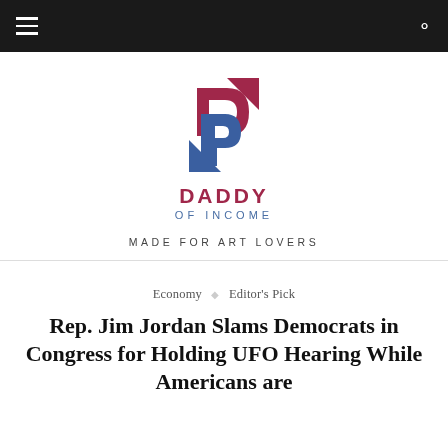[Figure (logo): Daddy of Income logo: stylized letter P with maroon upper arrow and blue lower P shape, with text DADDY OF INCOME below]
MADE FOR ART LOVERS
Economy ◇ Editor's Pick
Rep. Jim Jordan Slams Democrats in Congress for Holding UFO Hearing While Americans are